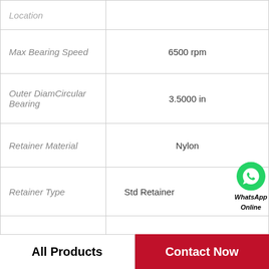| Property | Value |
| --- | --- |
| Location |  |
| Max Bearing Speed | 6500 rpm |
| Outer DiamCircular Bearing | 3.5000 in |
| Retainer Material | Nylon |
| Retainer Type | Std Retainer |
| Ring Size | Standard |
| Self Aligning | Self Centering |
| Shaft Attachment (2) | Set Screw |
| Ship Weight | 1.80 LB |
All Products
Contact Now